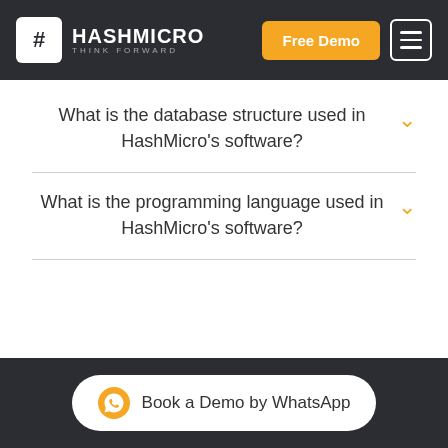HashMicro — THINK FORWARD | Free Demo
What is the database structure used in HashMicro's software?
What is the programming language used in HashMicro's software?
Book a Demo by WhatsApp